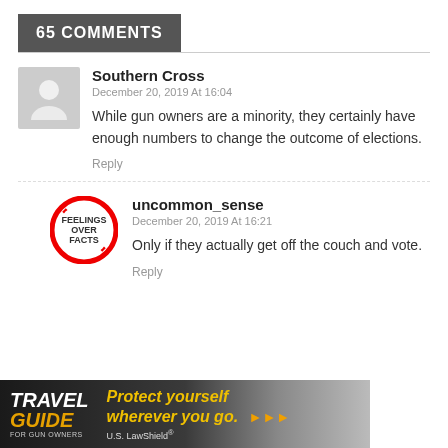65 COMMENTS
Southern Cross
December 20, 2019 At 16:04
While gun owners are a minority, they certainly have enough numbers to change the outcome of elections.
Reply
uncommon_sense
December 20, 2019 At 16:21
Only if they actually get off the couch and vote.
Reply
[Figure (infographic): Travel Guide for Gun Owners advertisement banner with text 'Protect yourself wherever you go.' and U.S. LawShield branding]